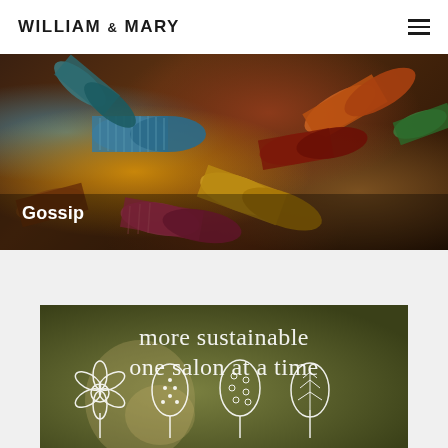WILLIAM & MARY
[Figure (photo): Close-up photo of colorful plastic hair curler rollers in various colors including blue, orange, red, brown, yellow and green, arranged in a pile against a dark background]
Gossip
[Figure (photo): Olive/green-toned image with white italic serif text reading 'more sustainable one salon at a time' and white illustrated plant/tree icons at the bottom]